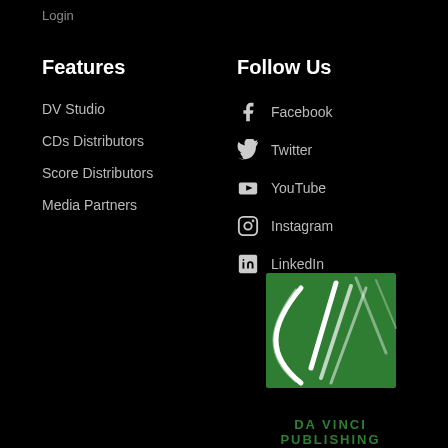Login
Features
DV Studio
CDs Distributors
Score Distributors
Media Partners
Follow Us
Facebook
Twitter
YouTube
Instagram
LinkedIn
[Figure (logo): Da Vinci Publishing logo — green square with white curved lines forming a stylized DV mark, text DA VINCI PUBLISHING below in green]